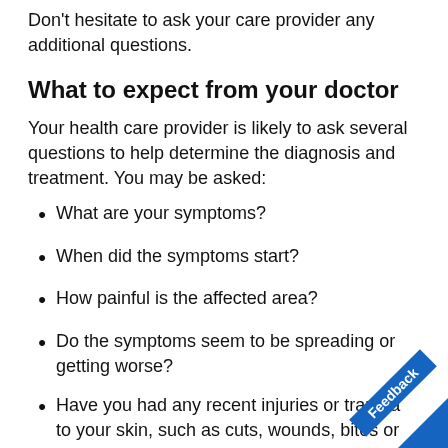Don't hesitate to ask your care provider any additional questions.
What to expect from your doctor
Your health care provider is likely to ask several questions to help determine the diagnosis and treatment. You may be asked:
What are your symptoms?
When did the symptoms start?
How painful is the affected area?
Do the symptoms seem to be spreading or getting worse?
Have you had any recent injuries or trauma to your skin, such as cuts, wounds, bites or surgery?
Have you been in very cold temperatures that made your skin change color or turn numb?
Do you use injectable drugs, including illegal d…